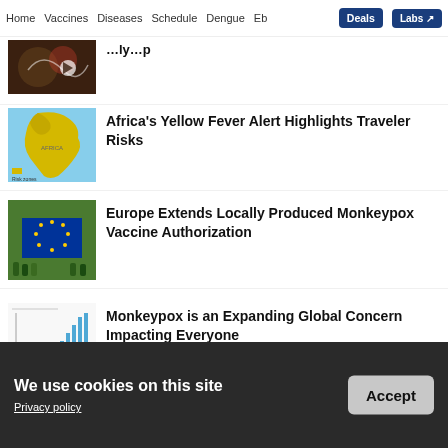Home  Vaccines  Diseases  Schedule  Dengue  Eb  Deals  Labs
[Figure (screenshot): Partial thumbnail image of a dark-themed infographic, partially visible at top of page]
Africa's Yellow Fever Alert Highlights Traveler Risks
[Figure (photo): Map of Africa highlighted in yellow showing yellow fever risk regions]
Europe Extends Locally Produced Monkeypox Vaccine Authorization
[Figure (photo): Group of people holding European Union flag outdoors on grass]
Monkeypox is an Expanding Global Concern Impacting Everyone
[Figure (bar-chart): Bar chart showing rising monkeypox cases over time, bars increasing in height]
ADVERTISEMENT
We use cookies on this site
Privacy policy